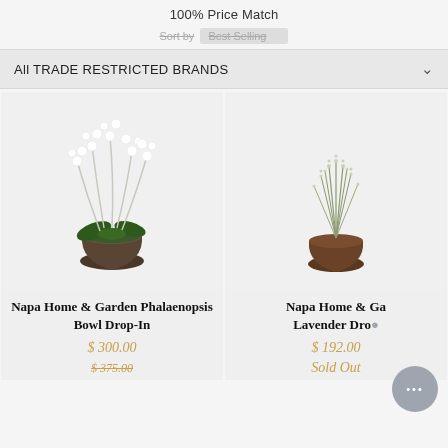100% Price Match
Sort by   Best Selling
All TRADE RESTRICTED BRANDS
[Figure (photo): Artificial white phalaenopsis orchid arrangement in a bowl planter with green foliage]
[Figure (photo): Artificial lavender drop-in plant in a brown pot]
Napa Home & Garden Phalaenopsis Bowl Drop-In
$ 300.00
$ 375.00
Napa Home & Garden Lavender Drop-In
$ 192.00
Sold Out